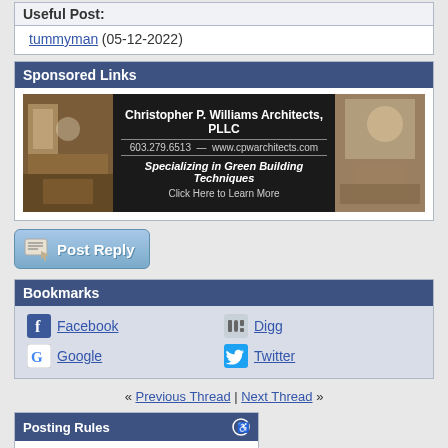Useful Post:
tummyman (05-12-2022)
Sponsored Links
[Figure (photo): Advertisement banner for Christopher P. Williams Architects, PLLC — 603.279.6513 — www.cpwarchitects.com — Specializing in Green Building Techniques — Click Here to Learn More]
[Figure (other): Post Reply button]
Bookmarks
Facebook
Digg
Google
Twitter
« Previous Thread | Next Thread »
Posting Rules
You may not post new threads
You may not post replies
You may not post attachments
You may not edit your posts
BB code is On
Smilies are On
[IMG] code is On
HTML code is On